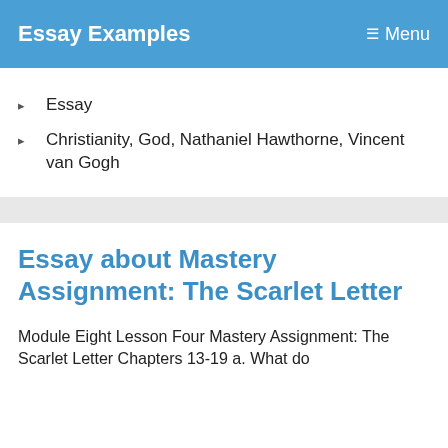Essay Examples   Menu
Essay
Christianity, God, Nathaniel Hawthorne, Vincent van Gogh
Essay about Mastery Assignment: The Scarlet Letter
Module Eight Lesson Four Mastery Assignment: The Scarlet Letter Chapters 13-19 a. What do